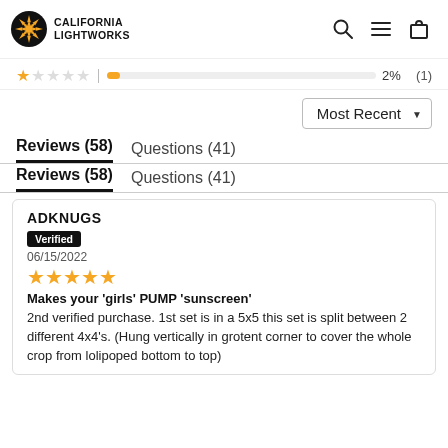CALIFORNIA LIGHTWORKS
1 star  2%  (1)
Most Recent ▼
Reviews (58)   Questions (41)
Reviews (58)   Questions (41)
ADKNUGS
Verified
06/15/2022
★★★★★
Makes your 'girls' PUMP 'sunscreen'
2nd verified purchase. 1st set is in a 5x5 this set is split between 2 different 4x4's. (Hung vertically in grotent corner to cover the whole crop from lolipoped bottom to top)